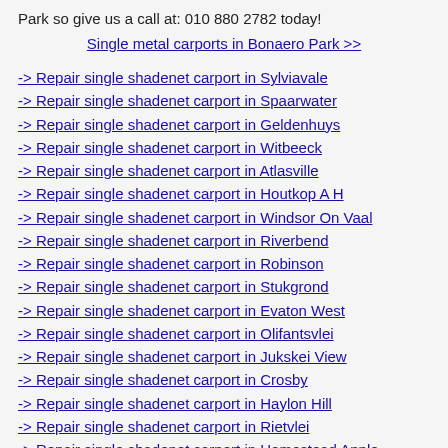Park so give us a call at: 010 880 2782 today!
Single metal carports in Bonaero Park >>
-> Repair single shadenet carport in Sylviavale
-> Repair single shadenet carport in Spaarwater
-> Repair single shadenet carport in Geldenhuys
-> Repair single shadenet carport in Witbeeck
-> Repair single shadenet carport in Atlasville
-> Repair single shadenet carport in Houtkop A H
-> Repair single shadenet carport in Windsor On Vaal
-> Repair single shadenet carport in Riverbend
-> Repair single shadenet carport in Robinson
-> Repair single shadenet carport in Stukgrond
-> Repair single shadenet carport in Evaton West
-> Repair single shadenet carport in Olifantsvlei
-> Repair single shadenet carport in Jukskei View
-> Repair single shadenet carport in Crosby
-> Repair single shadenet carport in Haylon Hill
-> Repair single shadenet carport in Rietvlei
-> Repair single shadenet carport in Homestead Apple Orchards A H
-> Repair single shadenet carport in Riverside Estate
-> Repair single shadenet carport in Vogelfontein
-> Repair single shadenet carport in Grasmere
-> Repair single shadenet carport in Excom
-> Repair single shadenet carport in Plooysville